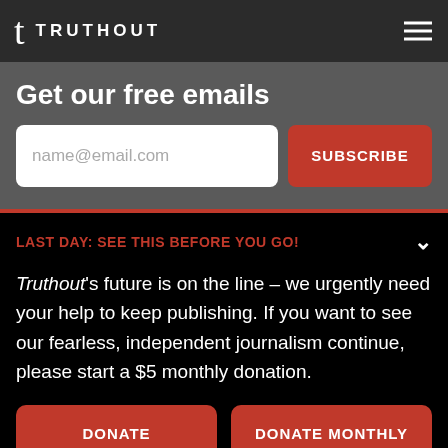TRUTHOUT
Get our free emails
name@email.com
SUBSCRIBE
LAST DAY: SEE THIS BEFORE YOU GO!
Truthout's future is on the line – we urgently need your help to keep publishing. If you want to see our fearless, independent journalism continue, please start a $5 monthly donation.
DONATE
DONATE MONTHLY